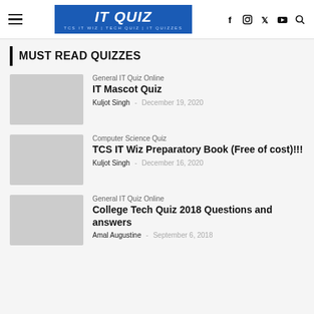IT QUIZ — TCS IT WIZ | TECH QUIZ | IT QUIZZES
MUST READ QUIZZES
General IT Quiz Online
IT Mascot Quiz
Kuljot Singh — December 19, 2020
Computer Science Quiz
TCS IT Wiz Preparatory Book (Free of cost)!!!
Kuljot Singh — December 16, 2020
General IT Quiz Online
College Tech Quiz 2018 Questions and answers
Amal Augustine — September 6, 2018